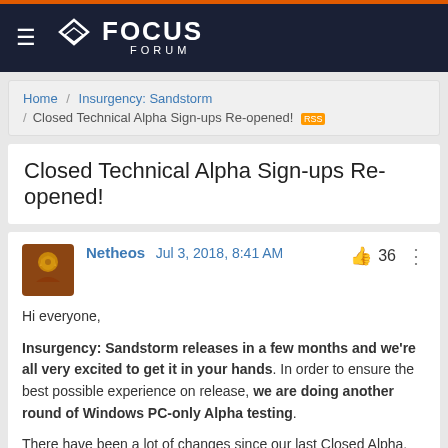FOCUS FORUM
Home / Insurgency: Sandstorm / Closed Technical Alpha Sign-ups Re-opened!
Closed Technical Alpha Sign-ups Re-opened!
Netheos Jul 3, 2018, 8:41 AM  36
Hi everyone,

Insurgency: Sandstorm releases in a few months and we're all very excited to get it in your hands. In order to ensure the best possible experience on release, we are doing another round of Windows PC-only Alpha testing.

There have been a lot of changes since our last Closed Alpha. We'd like to get feedback on all the new maps, balance changes